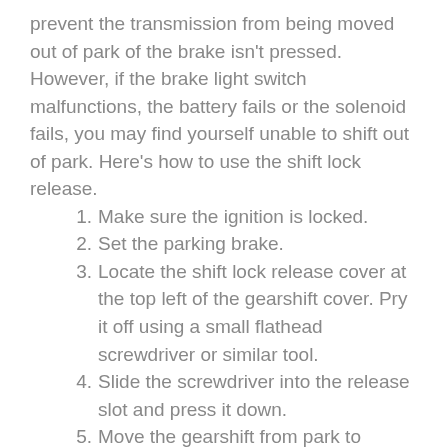prevent the transmission from being moved out of park of the brake isn't pressed. However, if the brake light switch malfunctions, the battery fails or the solenoid fails, you may find yourself unable to shift out of park. Here's how to use the shift lock release.
1. Make sure the ignition is locked.
2. Set the parking brake.
3. Locate the shift lock release cover at the top left of the gearshift cover. Pry it off using a small flathead screwdriver or similar tool.
4. Slide the screwdriver into the release slot and press it down.
5. Move the gearshift from park to neutral.
6. Press the brake pedal and start the engine.
7. Drive normally.